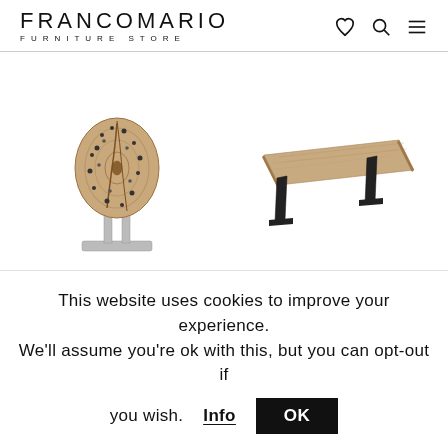FRANCOMARIO FURNITURE STORE
[Figure (photo): RE-WOOD sculptural wood piece on metal stand]
[Figure (photo): RE-WOOD dining table with natural wood top and black metal legs]
RE-WOOD
RE-WOOD
This website uses cookies to improve your experience. We'll assume you're ok with this, but you can opt-out if you wish. Info OK